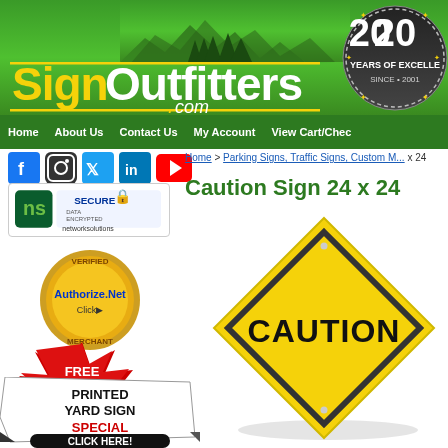[Figure (logo): SignOutfitters.com website header banner with green background, mountain silhouette, yellow and white logo text, and 20 Years of Excellence Since 2001 badge]
Home | About Us | Contact Us | My Account | View Cart/Check
Home > Parking Signs, Traffic Signs, Custom ... x 24
Caution Sign 24 x 24
[Figure (logo): Social media icons: Facebook, Instagram, Twitter, LinkedIn, YouTube]
[Figure (logo): Network Solutions Secure Data Encrypted badge]
[Figure (logo): Authorize.Net Verified Merchant Click badge]
[Figure (logo): Free Shipping* red starburst badge]
[Figure (illustration): Printed Yard Sign Special - Click Here promotional badge]
[Figure (photo): Yellow diamond-shaped CAUTION road sign, 24x24 inches]